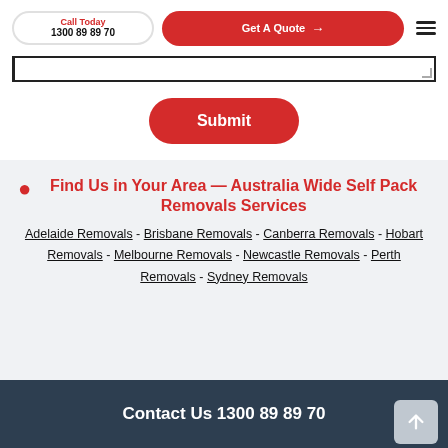Call Today 1300 89 89 70 | Get A Quote
(textarea / message input field)
Submit
Find Us in Your Area — Australia Wide Self Pack Removals Services
Adelaide Removals - Brisbane Removals - Canberra Removals - Hobart Removals - Melbourne Removals - Newcastle Removals - Perth Removals - Sydney Removals
Contact Us 1300 89 89 70